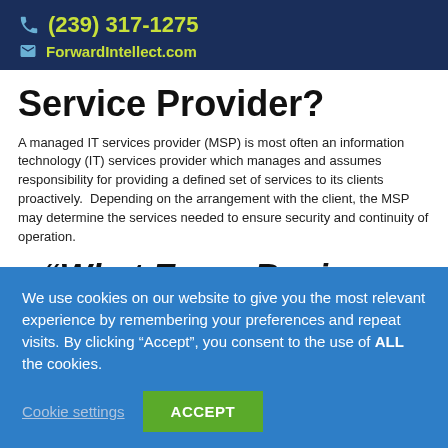(239) 317-1275  ForwardIntellect.com
Service Provider?
A managed IT services provider (MSP) is most often an information technology (IT) services provider which manages and assumes responsibility for providing a defined set of services to its clients proactively.  Depending on the arrangement with the client, the MSP may determine the services needed to ensure security and continuity of operation.
“What Every Business
We use cookies on our website to give you the most relevant experience by remembering your preferences and repeat visits. By clicking “Accept”, you consent to the use of ALL the cookies.
Cookie settings  ACCEPT